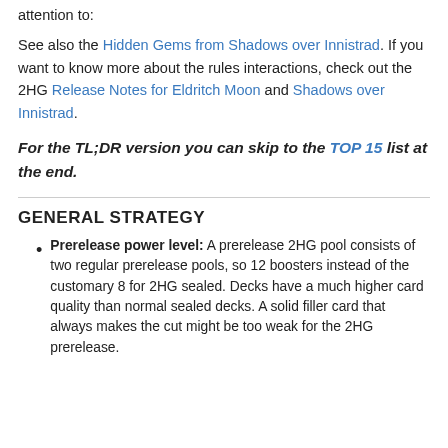See also the Hidden Gems from Shadows over Innistrad. If you want to know more about the rules interactions, check out the 2HG Release Notes for Eldritch Moon and Shadows over Innistrad.
For the TL;DR version you can skip to the TOP 15 list at the end.
GENERAL STRATEGY
Prerelease power level: A prerelease 2HG pool consists of two regular prerelease pools, so 12 boosters instead of the customary 8 for 2HG sealed. Decks have a much higher card quality than normal sealed decks. A solid filler card that always makes the cut might be too weak for the 2HG prerelease.